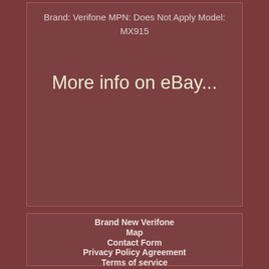Brand: Verifone MPN: Does Not Apply Model: MX915
More info on eBay...
Brand New Verifone
Map
Contact Form
Privacy Policy Agreement
Terms of service